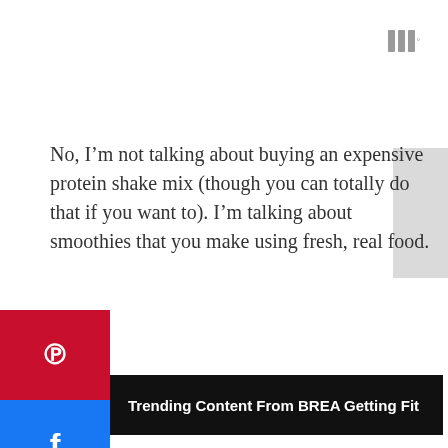[Figure (logo): Three vertical bars logo with superscript degree symbol, gray color, top-right corner]
No, I’m not talking about buying an expensive protein shake mix (though you can totally do that if you want to). I’m talking about smoothies that you make using fresh, real food.
[Figure (infographic): Social media share buttons on left sidebar: Pinterest (red), Facebook (blue), Twitter (light blue)]
Trending Content From BREA Getting Fit